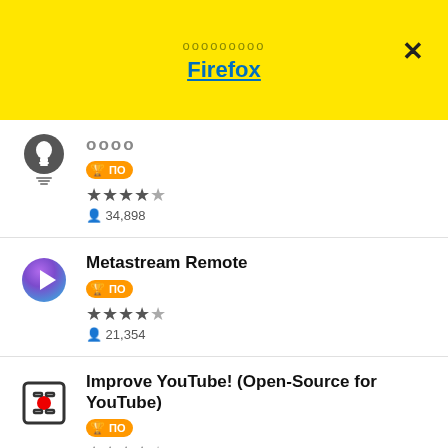ооооооооо Firefox
оооо, 4.5 stars, 34,898 users, badge
Metastream Remote, 4.5 stars, 21,354 users, badge
Improve YouTube! (Open-Source for YouTube), 4.5 stars, 9,149 users, badge
ZenMate Free VPN, 3.5 stars, 125,365 users